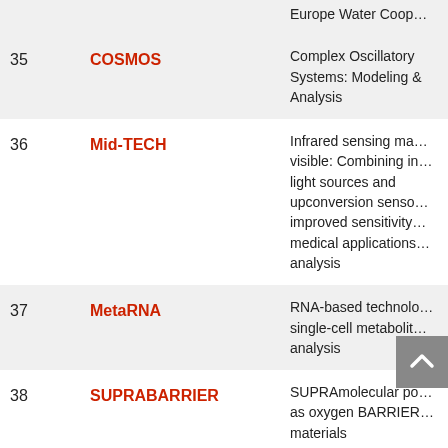| # | Acronym | Full Title |
| --- | --- | --- |
|  |  | Europe Water Coop… |
| 35 | COSMOS | Complex Oscillatory Systems: Modeling … Analysis |
| 36 | Mid-TECH | Infrared sensing ma… visible: Combining in… light sources and upconversion senso… improved sensitivity… medical applications… analysis |
| 37 | MetaRNA | RNA-based technolo… single-cell metabolit… analysis |
| 38 | SUPRABARRIER | SUPRAmolecular po… as oxygen BARRIER… materials |
| 39 | PACE | Perception and Act… |